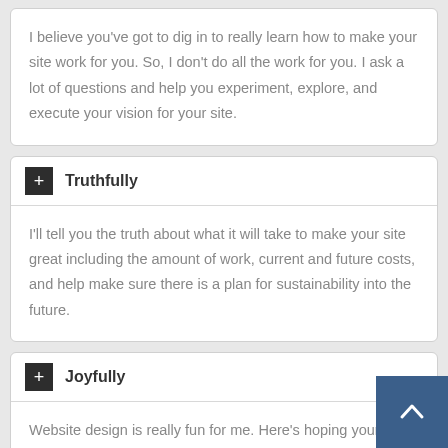I believe you've got to dig in to really learn how to make your site work for you. So, I don't do all the work for you. I ask a lot of questions and help you experiment, explore, and execute your vision for your site.
Truthfully
I'll tell you the truth about what it will take to make your site great including the amount of work, current and future costs, and help make sure there is a plan for sustainability into the future.
Joyfully
Website design is really fun for me. Here's hoping your